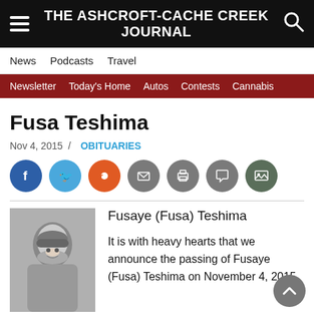THE ASHCROFT-CACHE CREEK JOURNAL
News | Podcasts | Travel
Newsletter | Today's Home | Autos | Contests | Cannabis
Fusa Teshima
Nov 4, 2015 / OBITUARIES
[Figure (other): Black and white portrait photo of Fusaye (Fusa) Teshima, an elderly woman smiling, wearing dark clothing and a hat.]
Fusaye (Fusa) Teshima

It is with heavy hearts that we announce the passing of Fusaye (Fusa) Teshima on November 4, 2015.